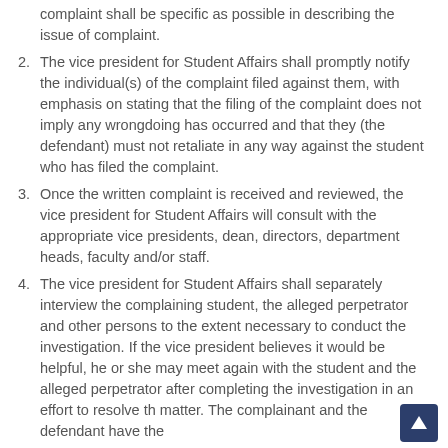complaint shall be specific as possible in describing the issue of complaint.
The vice president for Student Affairs shall promptly notify the individual(s) of the complaint filed against them, with emphasis on stating that the filing of the complaint does not imply any wrongdoing has occurred and that they (the defendant) must not retaliate in any way against the student who has filed the complaint.
Once the written complaint is received and reviewed, the vice president for Student Affairs will consult with the appropriate vice presidents, dean, directors, department heads, faculty and/or staff.
The vice president for Student Affairs shall separately interview the complaining student, the alleged perpetrator and other persons to the extent necessary to conduct the investigation. If the vice president believes it would be helpful, he or she may meet again with the student and the alleged perpetrator after completing the investigation in an effort to resolve the matter. The complainant and the defendant have the right to have a representative to be present.